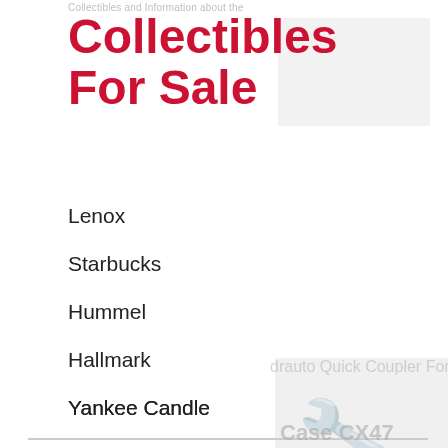Collectibles For Sale
Collectibles For Sale
Hummel
Hallmark
Yankee Candle
Lenox
Starbucks
Collectible
Fits All Case Cx47 Cx50, Cat 304ccr 305d, Doosan Dx63, Kobelco Sk50, Takeuchi Tb250, Bobcat E60 Machines. All